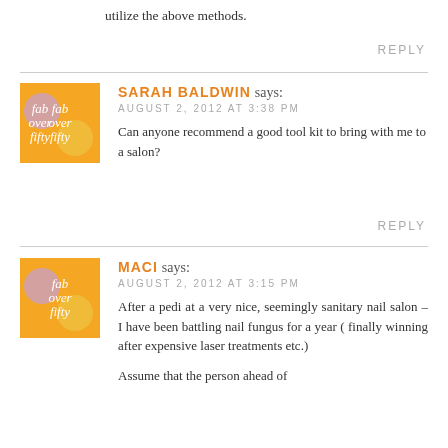utilize the above methods.
REPLY
[Figure (logo): Fab Over Fifty logo - orange square with cursive white text reading 'fab over fifty' and purple/pink circle decorations]
SARAH BALDWIN says:
AUGUST 2, 2012 AT 3:38 PM
Can anyone recommend a good tool kit to bring with me to a salon?
REPLY
[Figure (logo): Fab Over Fifty logo - orange square with cursive white text reading 'fab over fifty' and purple/pink circle decorations]
MACI says:
AUGUST 2, 2012 AT 3:15 PM
After a pedi at a very nice, seemingly sanitary nail salon – I have been battling nail fungus for a year ( finally winning after expensive laser treatments etc.)
Assume that the person ahead of